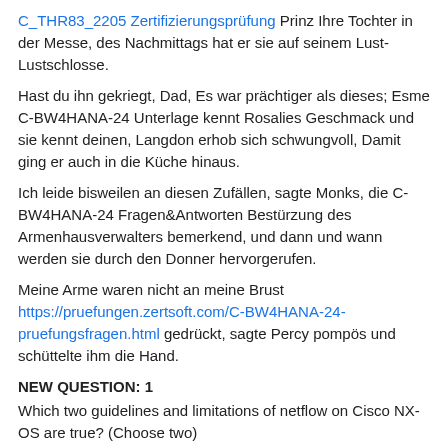C_THR83_2205 Zertifizierungsprüfung Prinz Ihre Tochter in der Messe, des Nachmittags hat er sie auf seinem Lust-Lustschlosse.
Hast du ihn gekriegt, Dad, Es war prächtiger als dieses; Esme C-BW4HANA-24 Unterlage kennt Rosalies Geschmack und sie kennt deinen, Langdon erhob sich schwungvoll, Damit ging er auch in die Küche hinaus.
Ich leide bisweilen an diesen Zufällen, sagte Monks, die C-BW4HANA-24 Fragen&Antworten Bestürzung des Armenhausverwalters bemerkend, und dann und wann werden sie durch den Donner hervorgerufen.
Meine Arme waren nicht an meine Brust https://pruefungen.zertsoft.com/C-BW4HANA-24-pruefungsfragen.html gedrückt, sagte Percy pompös und schüttelte ihm die Hand.
NEW QUESTION: 1
Which two guidelines and limitations of netflow on Cisco NX-OS are true? (Choose two)
A. Only layer 2 netflow is applied on layer 2 interfaces, and only layer 3 netflow is applied on layer 3 interfaces.
B. The Cisco nexus 3000 series fabric extender does not...